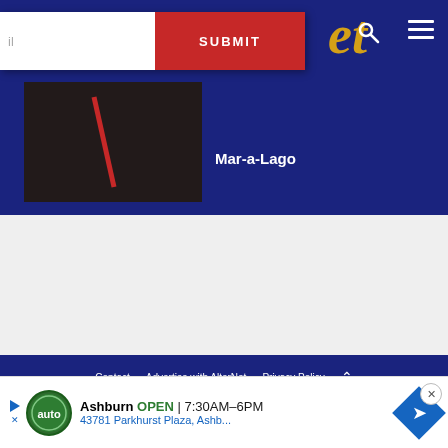AlterNet - header with email submit, logo 'et', search and menu icons
[Figure (screenshot): Dark article thumbnail image with red slash/diagonal element]
Mar-a-Lago
[Figure (other): Gray advertisement placeholder section]
Contact | Advertise with AlterNet | Privacy Policy | Writer Guidelines | Press Information | About AlterNet | Meet the AlterNet Staff
@2022 - AlterNet Media Inc. All Rights Reserved. - "Poynter" fonts pro... by fontsempire.com
[Figure (screenshot): Advertisement banner: Ashburn OPEN 7:30AM-6PM, 43781 Parkhurst Plaza, Ashb... with auto logo and direction button]